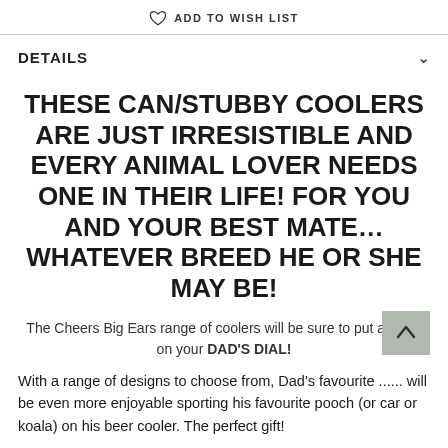♡ ADD TO WISH LIST
DETAILS
THESE CAN/STUBBY COOLERS ARE JUST IRRESISTIBLE AND EVERY ANIMAL LOVER NEEDS ONE IN THEIR LIFE! FOR YOU AND YOUR BEST MATE... WHATEVER BREED HE OR SHE MAY BE!
The Cheers Big Ears range of coolers will be sure to put a smile on your DAD'S DIAL!
With a range of designs to choose from, Dad's favourite ...... will be even more enjoyable sporting his favourite pooch (or car or koala) on his beer cooler. The perfect gift!